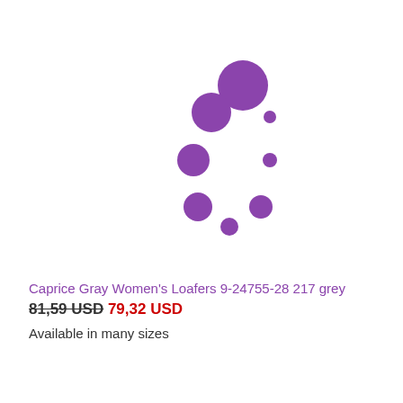[Figure (other): Purple loading spinner animation dots arranged in a circular pattern]
Caprice Gray Women's Loafers 9-24755-28 217 grey
81,59 USD  79,32 USD
Available in many sizes